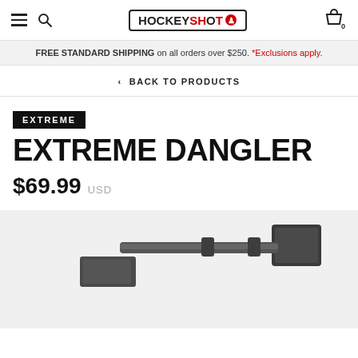HockeyShot navigation bar with menu, search, logo, and cart
FREE STANDARD SHIPPING on all orders over $250. *Exclusions apply.
< BACK TO PRODUCTS
EXTREME
EXTREME DANGLER
$69.99 USD
[Figure (photo): Bottom portion of the Extreme Dangler training aid product, showing a dark grey/black horizontal bar with end caps, photographed on a light grey background.]